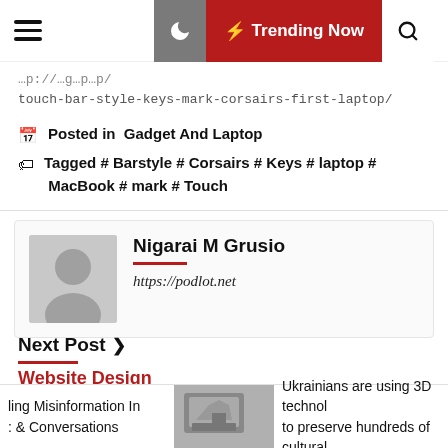Trending Now
touch-bar-style-keys-mark-corsairs-first-laptop/
Posted in  Gadget And Laptop
Tagged # Barstyle # Corsairs # Keys # laptop # MacBook # mark # Touch
Nigarai M Grusio
https://podlot.net
Next Post >
Website Design
ling Misinformation In
: & Conversations
Ukrainians are using 3D technol to preserve hundreds of cultural